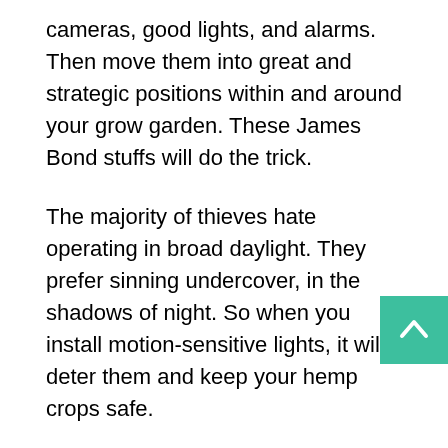cameras, good lights, and alarms. Then move them into great and strategic positions within and around your grow garden. These James Bond stuffs will do the trick.
The majority of thieves hate operating in broad daylight. They prefer sinning undercover, in the shadows of night. So when you install motion-sensitive lights, it will deter them and keep your hemp crops safe.
Okay, but what if the would-be thief is watching your every move, and knows when you leave the house? Well, with security cameras, you can worry less about that. Even if the thief succeeds, there is a high chance of him getting caught. Cameras also serve as hard